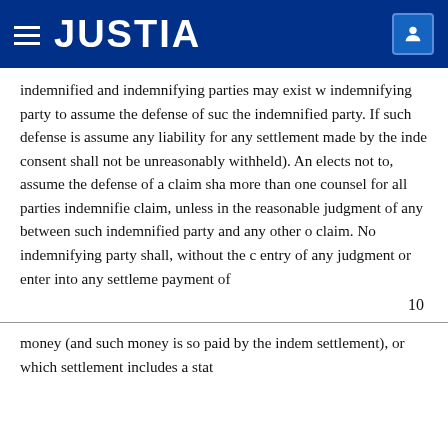JUSTIA
indemnified and indemnifying parties may exist w indemnifying party to assume the defense of suc the indemnified party. If such defense is assume any liability for any settlement made by the inde consent shall not be unreasonably withheld). An elects not to, assume the defense of a claim sha more than one counsel for all parties indemnifie claim, unless in the reasonable judgment of any between such indemnified party and any other o claim. No indemnifying party shall, without the c entry of any judgment or enter into any settleme payment of
10
money (and such money is so paid by the indem settlement), or which settlement includes a stat